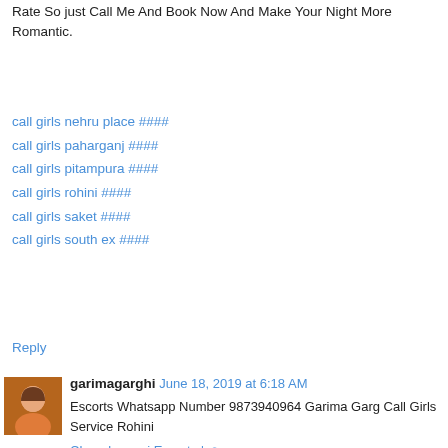Rate So just Call Me And Book Now And Make Your Night More Romantic.
call girls nehru place ####
call girls paharganj ####
call girls pitampura ####
call girls rohini ####
call girls saket ####
call girls south ex ####
Reply
garimagarghi June 18, 2019 at 6:18 AM
Escorts Whatsapp Number 9873940964 Garima Garg Call Girls Service Rohini
Chanakyapuri Escorts | ☺
Dwarka Escorts | ☺
Rohini Escorts | ☺
Laxmi Nagar Escorts | ☺
Reply